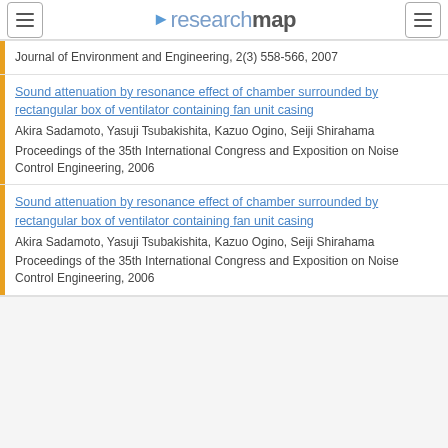researchmap
Journal of Environment and Engineering, 2(3) 558-566, 2007
Sound attenuation by resonance effect of chamber surrounded by rectangular box of ventilator containing fan unit casing
Akira Sadamoto, Yasuji Tsubakishita, Kazuo Ogino, Seiji Shirahama
Proceedings of the 35th International Congress and Exposition on Noise Control Engineering, 2006
Sound attenuation by resonance effect of chamber surrounded by rectangular box of ventilator containing fan unit casing
Akira Sadamoto, Yasuji Tsubakishita, Kazuo Ogino, Seiji Shirahama
Proceedings of the 35th International Congress and Exposition on Noise Control Engineering, 2006